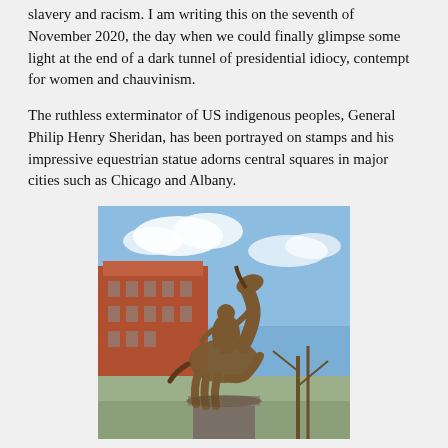slavery and racism. I am writing this on the seventh of November 2020, the day when we could finally glimpse some light at the end of a dark tunnel of presidential idiocy, contempt for women and chauvinism.
The ruthless exterminator of US indigenous peoples, General Philip Henry Sheridan, has been portrayed on stamps and his impressive equestrian statue adorns central squares in major cities such as Chicago and Albany.
[Figure (photo): Photo of an equestrian bronze statue of General Philip Henry Sheridan on a rearing horse, with a historic red-brick building visible in the background under a blue sky.]